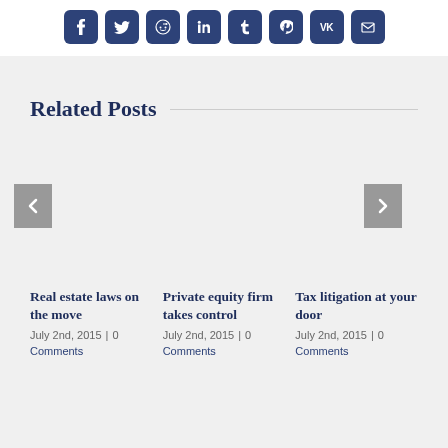[Figure (other): Social media sharing buttons: Facebook, Twitter, Reddit, LinkedIn, Tumblr, Pinterest, VK, Email]
Related Posts
[Figure (other): Carousel navigation with left arrow button and right arrow button]
Real estate laws on the move
July 2nd, 2015  |  0 Comments
Private equity firm takes control
July 2nd, 2015  |  0 Comments
Tax litigation at your door
July 2nd, 2015  |  0 Comments